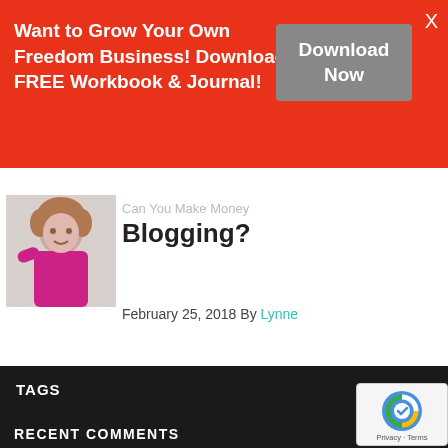[Figure (infographic): Red promotional banner with white bold text 'Want to Grow Your Own Freedom Business! Download FREE Workbook & Journal!' and a gray 'Download Now' button, with an X close button in the top right.]
[Figure (photo): Photo of a young girl in a pink/magenta dress with curly hair, hand raised to her head.]
Can You Make Money Blogging?
February 25, 2018 By Lynne
TAGS
hire a freelancer
outsourcing
outsourcing tasks
RECENT COMMENTS